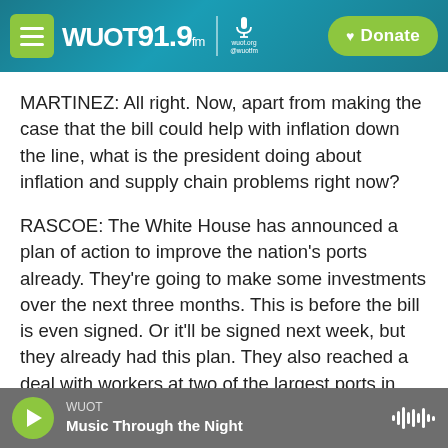[Figure (screenshot): WUOT 91.9 FM radio station website header with hamburger menu button, WUOT 91.9 logo, microphone icon, and green Donate button on teal/blue gradient background]
MARTINEZ: All right. Now, apart from making the case that the bill could help with inflation down the line, what is the president doing about inflation and supply chain problems right now?
RASCOE: The White House has announced a plan of action to improve the nation's ports already. They're going to make some investments over the next three months. This is before the bill is even signed. Or it'll be signed next week, but they already had this plan. They also reached a deal with workers at two of the largest ports in America, the
WUOT  Music Through the Night